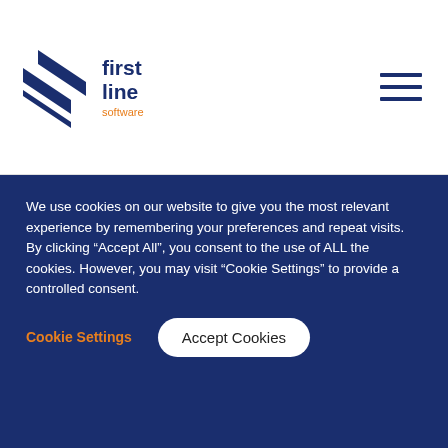[Figure (logo): First Line Software logo with navy blue chevron/arrow graphic and text 'first line software' in navy and orange]
How Can We Help?*
[Figure (other): Text area input field with resize handle, for user to type how they need help]
[Figure (other): Orange Submit button]
We use cookies on our website to give you the most relevant experience by remembering your preferences and repeat visits. By clicking “Accept All”, you consent to the use of ALL the cookies. However, you may visit “Cookie Settings” to provide a controlled consent.
Cookie Settings    Accept Cookies